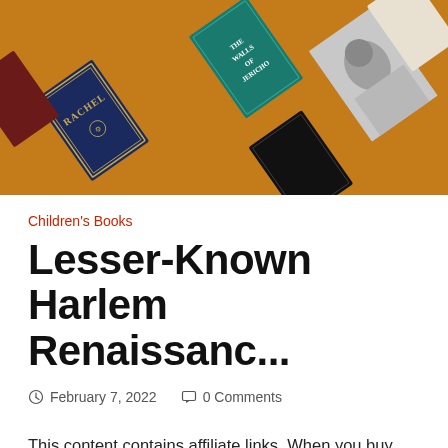[Figure (photo): Overhead photo of multiple book covers arranged diagonally on an orange/brown background, including a dark blue book titled 'Rachel' and a teal book titled 'The Walls of Jericho', along with other books and a monochrome portrait photo of a woman.]
Children's Books
Lesser-Known Harlem Renaissanc...
February 7, 2022   0 Comments
This content contains affiliate links. When you buy through these links, we may earn an affiliate